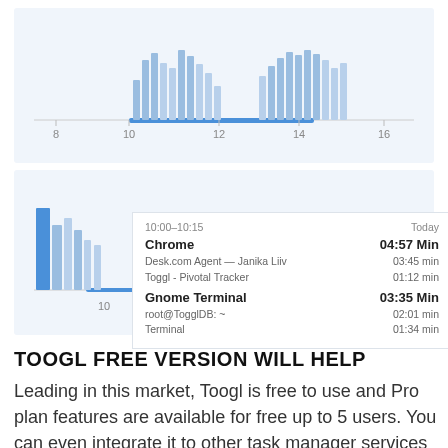[Figure (bar-chart): Time tracking bar chart (hours 8-16)]
[Figure (bar-chart): Zoomed view at hour 10 with tooltip showing Chrome 04:57 Min, Gnome Terminal 03:35 Min]
|  |  |
| --- | --- |
| 10:00–10:15 | Today |
| Chrome | 04:57 Min |
| Desk.com Agent — Janika Liiv | 03:45 min |
| Toggl - Pivotal Tracker | 01:12 min |
| Gnome Terminal | 03:35 Min |
| root@TogglDB: ~ | 02:01 min |
| Terminal | 01:34 min |
TOOGL FREE VERSION WILL HELP
Leading in this market, Toogl is free to use and Pro plan features are available for free up to 5 users. You can even integrate it to other task manager services like